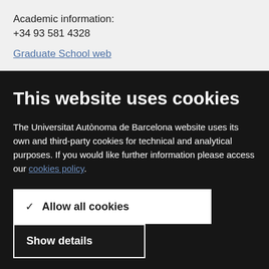Academic information:
+34 93 581 4328
Graduate School web
This website uses cookies
The Universitat Autònoma de Barcelona website uses its own and third-party cookies for technical and analytical purposes. If you would like further information please access our cookies policy.
✓ Allow all cookies
Show details